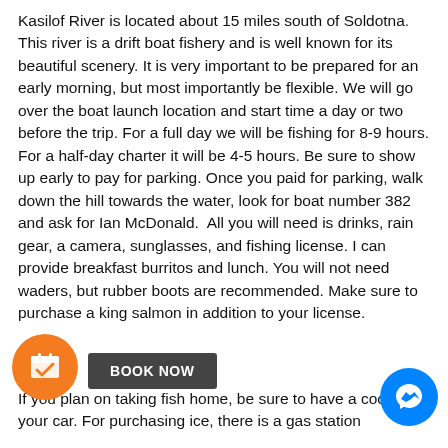Kasilof River is located about 15 miles south of Soldotna. This river is a drift boat fishery and is well known for its beautiful scenery. It is very important to be prepared for an early morning, but most importantly be flexible. We will go over the boat launch location and start time a day or two before the trip. For a full day we will be fishing for 8-9 hours. For a half-day charter it will be 4-5 hours. Be sure to show up early to pay for parking. Once you paid for parking, walk down the hill towards the water, look for boat number 382 and ask for Ian McDonald.  All you will need is drinks, rain gear, a camera, sunglasses, and fishing license. I can provide breakfast burritos and lunch. You will not need waders, but rubber boots are recommended. Make sure to purchase a king salmon in addition to your license.
If you plan on taking fish home, be sure to have a cooler in your car. For purchasing ice, there is a gas station